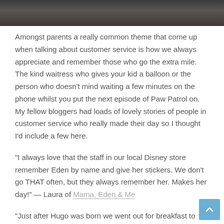[Figure (photo): Dark toned photo strip at top of page, appears to show a desk or surface with objects, very dark/muted tones]
Amongst parents a really common theme that come up when talking about customer service is how we always appreciate and remember those who go the extra mile. The kind waitress who gives your kid a balloon or the person who doesn't mind waiting a few minutes on the phone whilst you put the next episode of Paw Patrol on. My fellow bloggers had loads of lovely stories of people in customer service who really made their day so I thought I'd include a few here.
"I always love that the staff in our local Disney store remember Eden by name and give her stickers. We don't go THAT often, but they always remember her. Makes her day!" — Laura of Mama, Eden & Me
"Just after Hugo was born we went out for breakfast to Bills and the lovely waitress noticed I was holding the baby when our food arrived so offered to cut up my pancakes for me! Which was lovely of her and I really appreciated it!" — Harriet, Life with Mr Lee